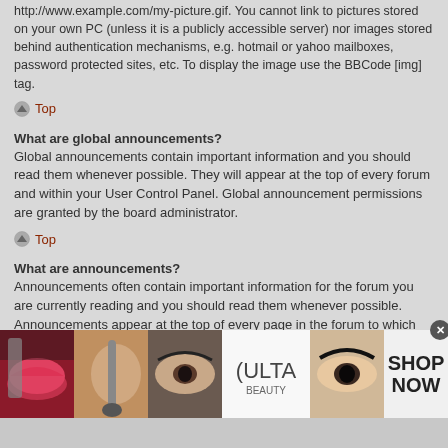http://www.example.com/my-picture.gif. You cannot link to pictures stored on your own PC (unless it is a publicly accessible server) nor images stored behind authentication mechanisms, e.g. hotmail or yahoo mailboxes, password protected sites, etc. To display the image use the BBCode [img] tag.
Top
What are global announcements?
Global announcements contain important information and you should read them whenever possible. They will appear at the top of every forum and within your User Control Panel. Global announcement permissions are granted by the board administrator.
Top
What are announcements?
Announcements often contain important information for the forum you are currently reading and you should read them whenever possible. Announcements appear at the top of every page in the forum to which they are posted. As with global announcements, announcement permissions are granted by the board
[Figure (advertisement): Ulta Beauty advertisement banner with makeup photos (lips, brush, eyes) and SHOP NOW text]